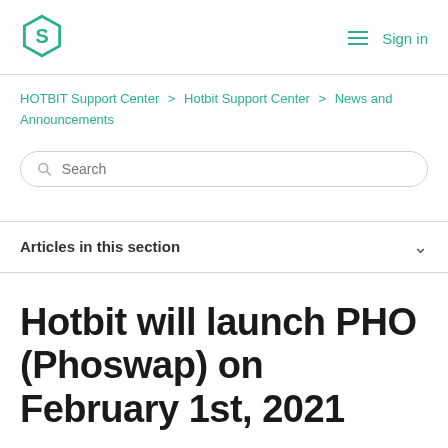[Figure (logo): Hotbit hexagon logo in teal/green color]
≡ Sign in
HOTBIT Support Center > Hotbit Support Center > News and Announcements
Search
Articles in this section
Hotbit will launch PHO (Phoswap) on February 1st, 2021